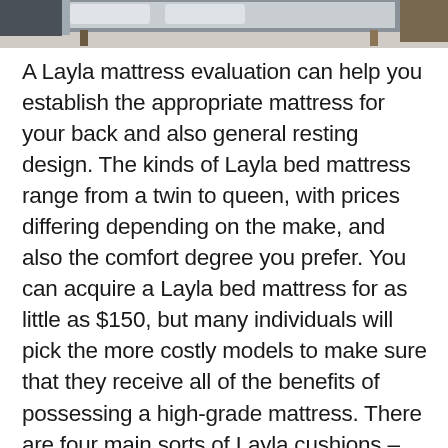[Figure (photo): Partial view of a bedroom or furniture setting showing what appears to be a mattress or bed frame with legs, photographed against a light background.]
A Layla mattress evaluation can help you establish the appropriate mattress for your back and also general resting design. The kinds of Layla bed mattress range from a twin to queen, with prices differing depending on the make, and also the comfort degree you prefer. You can acquire a Layla bed mattress for as little as $150, but many individuals will pick the more costly models to make sure that they receive all of the benefits of possessing a high-grade mattress. There are four main sorts of Layla cushions – typical, memory, waterbed, and futon. Each type has its own advantages and also negative aspects, so it is a good concept to review the benefits and drawbacks of each before you buy anything. Right here's a fast